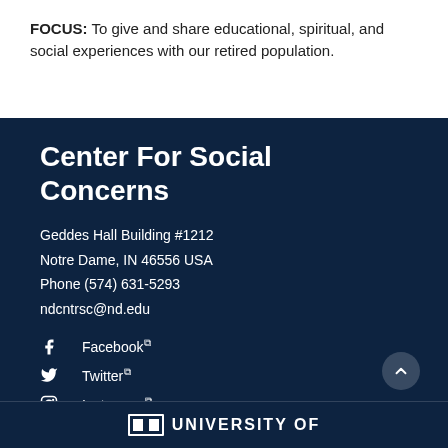FOCUS: To give and share educational, spiritual, and social experiences with our retired population.
Center For Social Concerns
Geddes Hall Building #1212
Notre Dame, IN 46556 USA
Phone (574) 631-5293
ndcntrsc@nd.edu
Facebook
Twitter
Instagram
© 2022 University of Notre Dame
UNIVERSITY OF